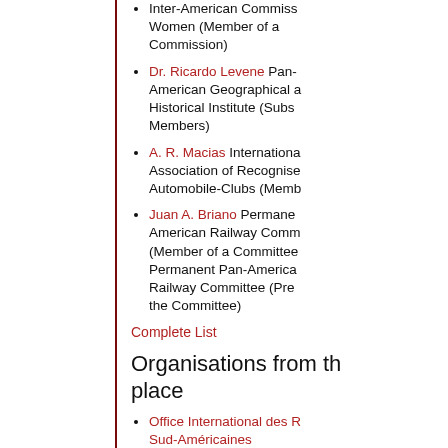Inter-American Commission on Women (Member of a Commission)
Dr. Ricardo Levene Pan-American Geographical and Historical Institute (Substitute Members)
A. R. Macias International Association of Recognised Automobile-Clubs (Member...)
Juan A. Briano Permanent Pan-American Railway Committee (Member of a Committee) Permanent Pan-American Railway Committee (President of the Committee)
Complete List
Organisations from the place
Office International des Routes Sud-Américaines